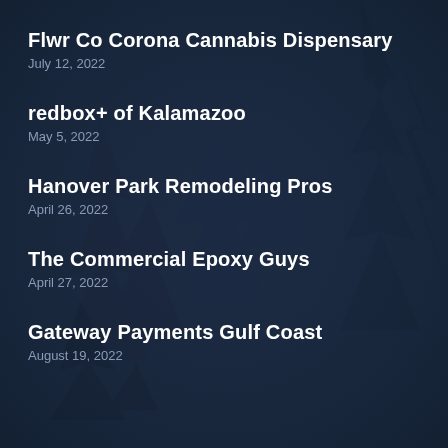[Figure (illustration): Dark navy blue background with silhouettes of pine/fir trees visible in the background, creating a moody forest atmosphere]
Flwr Co Corona Cannabis Dispensary
July 12, 2022
redbox+ of Kalamazoo
May 5, 2022
Hanover Park Remodeling Pros
April 26, 2022
The Commercial Epoxy Guys
April 27, 2022
Gateway Payments Gulf Coast
August 19, 2022